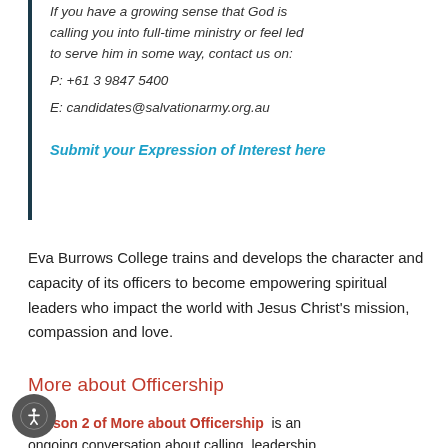If you have a growing sense that God is calling you into full-time ministry or feel led to serve him in some way, contact us on:
P: +61 3 9847 5400
E: candidates@salvationarmy.org.au
Submit your Expression of Interest here
Eva Burrows College trains and develops the character and capacity of its officers to become empowering spiritual leaders who impact the world with Jesus Christ’s mission, compassion and love.
More about Officership
Season 2 of More about Officership is an ongoing conversation about calling, leadership